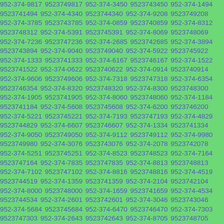952-374-9817 9523749817 952-374-3450 9523743450 952-374-1494 9523741494 952-374-4340 9523744340 952-374-9208 9523749208 952-374-3785 9523743785 952-374-0859 9523740859 952-374-8312 9523748312 952-374-5391 9523745391 952-374-8069 9523748069 952-374-7236 9523747236 952-374-2685 9523742685 952-374-3894 9523743894 952-374-9040 9523749040 952-374-5922 9523745922 952-374-1333 9523741333 952-374-6167 9523746167 952-374-1522 9523741522 952-374-0622 9523740622 952-374-0914 9523740914 952-374-9606 9523749606 952-374-7318 9523747318 952-374-6354 9523746354 952-374-8320 9523748320 952-374-8300 9523748300 952-374-1905 9523741905 952-374-8060 9523748060 952-374-1184 9523741184 952-374-5608 9523745608 952-374-6200 9523746200 952-374-5221 9523745221 952-374-7193 9523747193 952-374-4829 9523744829 952-374-6607 9523746607 952-374-1334 9523741334 952-374-9050 9523749050 952-374-9112 9523749112 952-374-9980 9523749980 952-374-3076 9523743076 952-374-2078 9523742078 952-374-5251 9523745251 952-374-8523 9523748523 952-374-7164 9523747164 952-374-7835 9523747835 952-374-8813 9523748813 952-374-7102 9523747102 952-374-8816 9523748816 952-374-4519 9523744519 952-374-1359 9523741359 952-374-2104 9523742104 952-374-8000 9523748000 952-374-1659 9523741659 952-374-4534 9523744534 952-374-2601 9523742601 952-374-3046 9523743046 952-374-5684 9523745684 952-374-6470 9523746470 952-374-7303 9523747303 952-374-2643 9523742643 952-374-8705 9523748705 952-374-8504 9523748504 952-374-1067 9523741067 952-374-